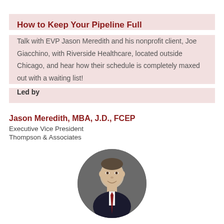How to Keep Your Pipeline Full
Talk with EVP Jason Meredith and his nonprofit client, Joe Giacchino, with Riverside Healthcare, located outside Chicago, and hear how their schedule is completely maxed out with a waiting list!
Led by
Jason Meredith, MBA, J.D., FCEP
Executive Vice President
Thompson & Associates
[Figure (photo): Headshot of Jason Meredith in a circular crop, wearing a suit, smiling, against a gray background.]